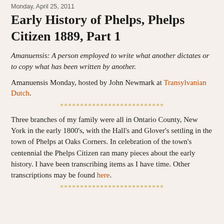Monday, April 25, 2011
Early History of Phelps, Phelps Citizen 1889, Part 1
Amanuensis: A person employed to write what another dictates or to copy what has been written by another.
Amanuensis Monday, hosted by John Newmark at Transylvanian Dutch.
**************************
Three branches of my family were all in Ontario County, New York in the early 1800's, with the Hall's and Glover's settling in the town of Phelps at Oaks Corners. In celebration of the town's centennial the Phelps Citizen ran many pieces about the early history. I have been transcribing items as I have time. Other transcriptions may be found here.
**************************